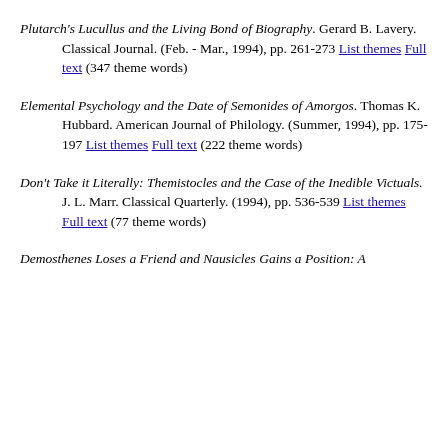the American Philological Association. (1994), pp. 135-161 List themes Full text (385 theme words)
Plutarch's Lucullus and the Living Bond of Biography. Gerard B. Lavery. Classical Journal. (Feb. - Mar., 1994), pp. 261-273 List themes Full text (347 theme words)
Elemental Psychology and the Date of Semonides of Amorgos. Thomas K. Hubbard. American Journal of Philology. (Summer, 1994), pp. 175-197 List themes Full text (222 theme words)
Don't Take it Literally: Themistocles and the Case of the Inedible Victuals. J. L. Marr. Classical Quarterly. (1994), pp. 536-539 List themes Full text (77 theme words)
Demosthenes Loses a Friend and Nausicles Gains a Position: A